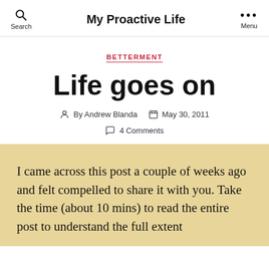My Proactive Life
BETTERMENT
Life goes on
By Andrew Blanda   May 30, 2011
4 Comments
I came across this post a couple of weeks ago and felt compelled to share it with you. Take the time (about 10 mins) to read the entire post to understand the full extent